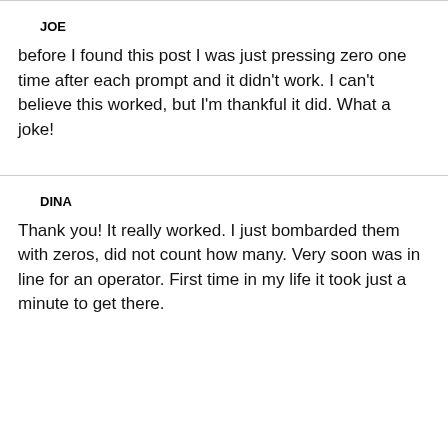JOE
before I found this post I was just pressing zero one time after each prompt and it didn't work. I can't believe this worked, but I'm thankful it did. What a joke!
DINA
Thank you! It really worked. I just bombarded them with zeros, did not count how many. Very soon was in line for an operator. First time in my life it took just a minute to get there.